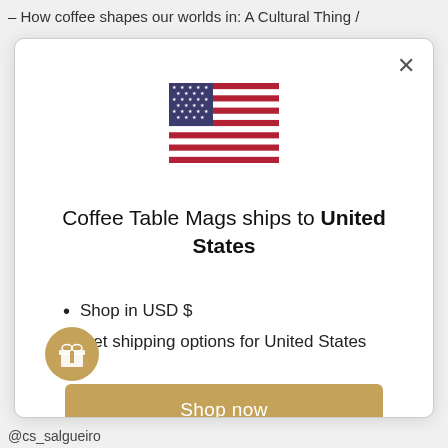– How coffee shapes our worlds in: A Cultural Thing /
[Figure (illustration): US flag SVG illustration]
Coffee Table Mags ships to United States
Shop in USD $
Get shipping options for United States
Shop now
Change shipping country
[Figure (illustration): Gift/reward icon circle button]
@cs_salgueiro